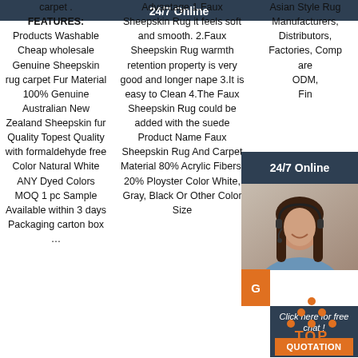carpet . FEATURES: Products Washable Cheap wholesale Genuine Sheepskin rug carpet Fur Material 100% Genuine Australian New Zealand Sheepskin fur Quality Topest Quality with formaldehyde free Color Natural White ANY Dyed Colors MOQ 1 pc Sample Available within 3 days Packaging carton box …
Advantage 1.Faux Sheepskin Rug it feels soft and smooth. 2.Faux Sheepskin Rug warmth retention property is very good and longer nape 3.It is easy to Clean 4.The Faux Sheepskin Rug could be added with the suede Product Name Faux Sheepskin Rug And Carpet Material 80% Acrylic Fibers, 20% Ployster Color White, Gray, Black Or Other Color Size
Asian Style Rug Manufacturers, Distributors, Factories, Companies are OEM, ODM, Find…
[Figure (infographic): 24/7 Online chat widget with dark blue background, photo of a woman with headset, orange G button, 'Click here for free chat!' text in italic, and an orange QUOTATION button]
[Figure (infographic): TOP icon with orange dots arranged in triangle pattern above the text TOP in orange bold letters]